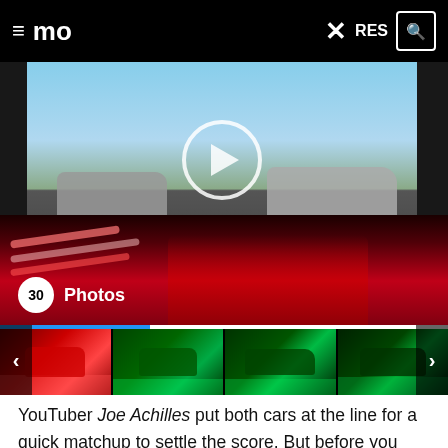mo  RES
[Figure (screenshot): Main video thumbnail showing two silver Audi RS3 cars on a track, with a circular play button overlay. Below is a red Audi RS3 with light bar effects. A badge shows '30 Photos'.]
[Figure (photo): Thumbnail strip showing four images of Audi RS3 cars with colored lighting effects (red and green).]
YouTuber Joe Achilles put both cars at the line for a quick matchup to settle the score. But before you watch the video, let's go through the numbers first.